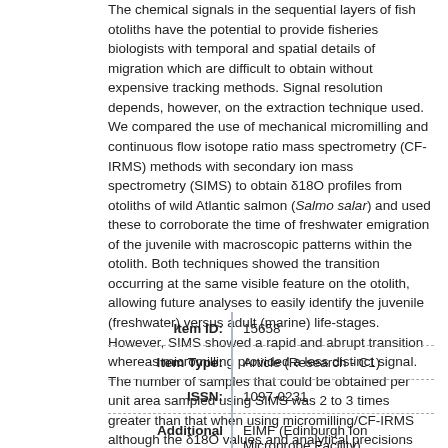The chemical signals in the sequential layers of fish otoliths have the potential to provide fisheries biologists with temporal and spatial details of migration which are difficult to obtain without expensive tracking methods. Signal resolution depends, however, on the extraction technique used. We compared the use of mechanical micromilling and continuous flow isotope ratio mass spectrometry (CF-IRMS) methods with secondary ion mass spectrometry (SIMS) to obtain δ18O profiles from otoliths of wild Atlantic salmon (Salmo salar) and used these to corroborate the time of freshwater emigration of the juvenile with macroscopic patterns within the otolith. Both techniques showed the transition occurring at the same visible feature on the otolith, allowing future analyses to easily identify the juvenile (freshwater) versus adult (marine) life-stages. However, SIMS showed a rapid and abrupt transition whereas micromilling provided a less distinct signal. The number of samples that could be obtained per unit area sampled using SIMS was 2 to 3 times greater than that when using micromilling/CF-IRMS although the δ18O values and analytical precisions (~0.2‰) of the two methods were comparable. In addition, SIMS δ18O results were used to compare otolith aragonite values with predicted values calculated using various isotope fractionation equations.
| Field | Value |
| --- | --- |
| Item ID: | 15658 |
| Item Type: | Article (Research - C1) |
| ISSN: | 1097-0231 |
| Additional | EIMF (Edinburgh Ion Microprobe Facility) |